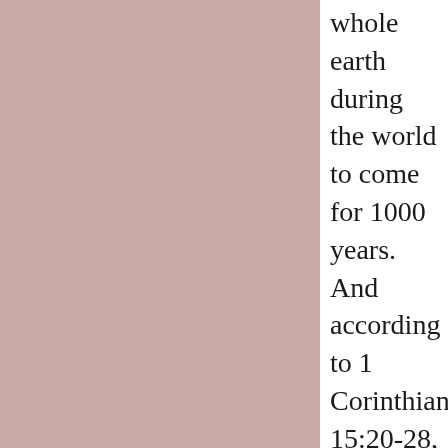whole earth during the world to come for 1000 years. And according to 1 Corinthians 15:20-28, the Son will step down from ruling at the END of